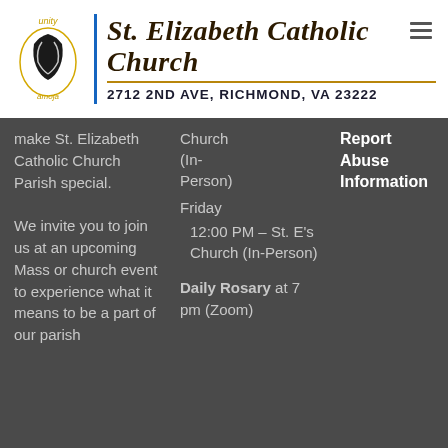St. Elizabeth Catholic Church
2712 2ND AVE, RICHMOND, VA 23222
make St. Elizabeth Catholic Church Parish special.

We invite you to join us at an upcoming Mass or church event to experience what it means to be a part of our parish
Church (In-Person)

Friday
12:00 PM – St. E's Church (In-Person)

Daily Rosary at 7 pm (Zoom)
Report Abuse Information